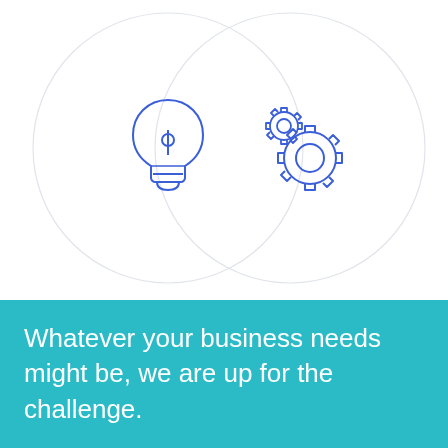[Figure (infographic): Two overlapping circles (Venn diagram style) on white background. Left circle contains a blue outline lightbulb icon. Right circle contains blue outline gear/cog icons (one large, one small).]
Whatever your business needs might be, we are up for the challenge.